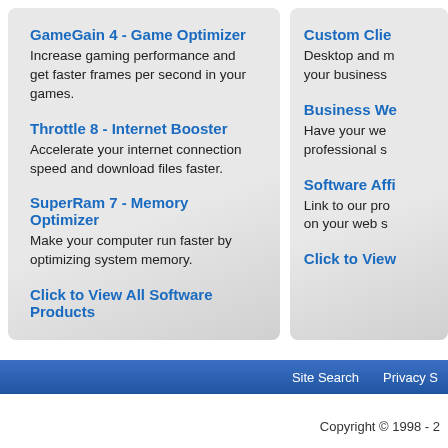GameGain 4 - Game Optimizer
Increase gaming performance and get faster frames per second in your games.
Throttle 8 - Internet Booster
Accelerate your internet connection speed and download files faster.
SuperRam 7 - Memory Optimizer
Make your computer run faster by optimizing system memory.
Click to View All Software Products
Custom Clie…
Desktop and m… your business…
Business We…
Have your we… professional s…
Software Affi…
Link to our pro… on your web s…
Click to View…
Site Search   Privacy S…
Copyright © 1998 - 2…